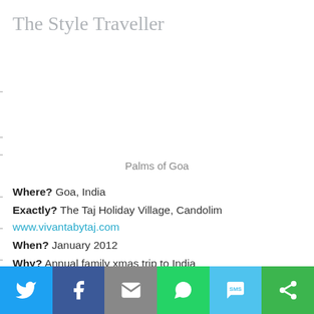The Style Traveller
Palms of Goa
Where? Goa, India
Exactly? The Taj Holiday Village, Candolim www.vivantabytaj.com
When? January 2012
Why? Annual family xmas trip to India
Best time to go? During winter peak season which runs from November to